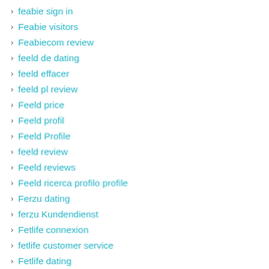feabie sign in
Feabie visitors
Feabiecom review
feeld de dating
feeld effacer
feeld pl review
Feeld price
Feeld profil
Feeld Profile
feeld review
Feeld reviews
Feeld ricerca profilo profile
Ferzu dating
ferzu Kundendienst
Fetlife connexion
fetlife customer service
Fetlife dating
fetlife david muir dating
fetlife review